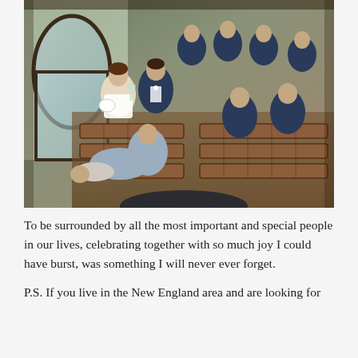[Figure (photo): Wedding party sitting inside a vintage trolley. The bride in a white dress holds white flowers and raises a glass. The groom in a navy suit with a white boutonniere smiles. Bridesmaids in dusty blue dresses and groomsmen in navy tuxedos with bow ties are seated on wooden benches. A flower girl is lying across a bridesmaid's lap. The view is from above, looking down into the trolley interior.]
To be surrounded by all the most important and special people in our lives, celebrating together with so much joy I could have burst, was something I will never ever forget.
P.S. If you live in the New England area and are looking for